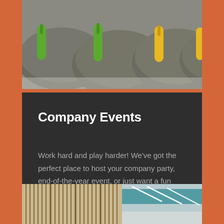[Figure (photo): Close-up photo of curling stones with green and yellow handles on ice]
Company Events
Work hard and play harder! We've got the perfect place to host your company party, end-of-the-year event, or just want a fun outing amongst colleagues.
[Figure (photo): Interior photo showing wooden slat wall panels and a sports facility ceiling with teal elements and lighting]